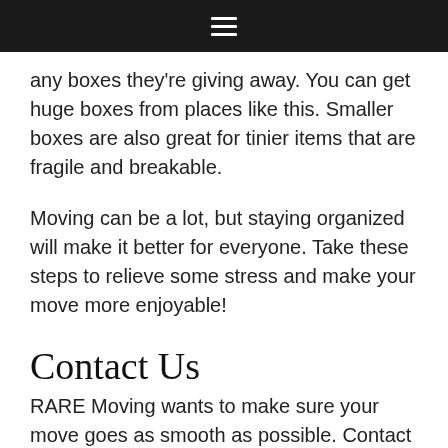≡
any boxes they're giving away. You can get huge boxes from places like this. Smaller boxes are also great for tinier items that are fragile and breakable.
Moving can be a lot, but staying organized will make it better for everyone. Take these steps to relieve some stress and make your move more enjoyable!
Contact Us
RARE Moving wants to make sure your move goes as smooth as possible. Contact us for a free estimate today!